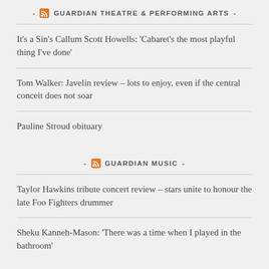- GUARDIAN THEATRE & PERFORMING ARTS -
It's a Sin's Callum Scott Howells: 'Cabaret's the most playful thing I've done'
Tom Walker: Javelin review – lots to enjoy, even if the central conceit does not soar
Pauline Stroud obituary
- GUARDIAN MUSIC -
Taylor Hawkins tribute concert review – stars unite to honour the late Foo Fighters drummer
Sheku Kanneh-Mason: 'There was a time when I played in the bathroom'